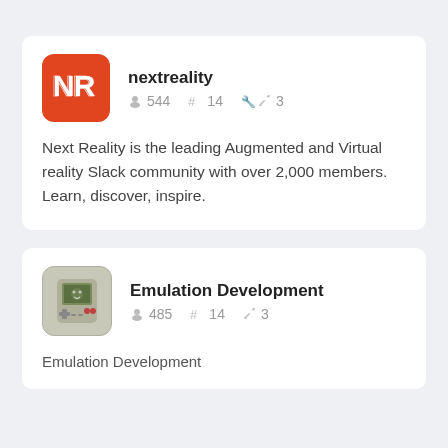nextreality
544 members  # 14 channels  3 apps
Next Reality is the leading Augmented and Virtual reality Slack community with over 2,000 members. Learn, discover, inspire.
Emulation Development
485 members  # 14 channels  3 apps
Emulation Development